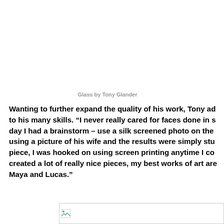Glass by Tony Glander
Wanting to further expand the quality of his work, Tony ad to his many skills. “I never really cared for faces done in s day I had a brainstorm – use a silk screened photo on the using a picture of his wife and the results were simply stu piece, I was hooked on using screen printing anytime I co created a lot of really nice pieces, my best works of art are Maya and Lucas.”
[Figure (photo): Partially visible image at the bottom of the page, appears to be a broken/loading image placeholder]